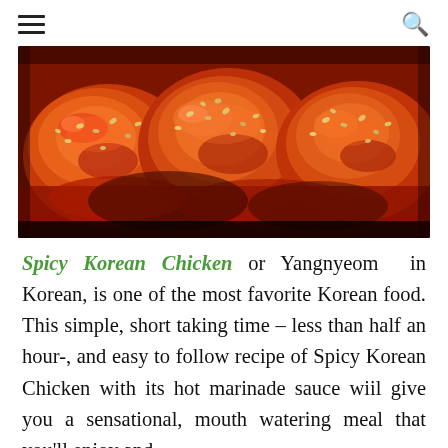≡  🔍
[Figure (photo): Close-up photo of Spicy Korean Chicken (Yangnyeom) glazed with a shiny red-orange spicy sauce and sesame seeds, arranged on a dark plate.]
Spicy Korean Chicken or Yangnyeom in Korean, is one of the most favorite Korean food. This simple, short taking time – less than half an hour-, and easy to follow recipe of Spicy Korean Chicken with its hot marinade sauce wiil give you a sensational, mouth watering meal that you'll enjoy and